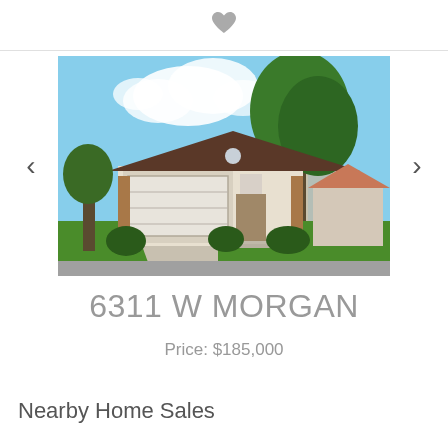[Figure (other): Heart/favorite icon at top center of page]
[Figure (photo): Exterior photo of a single-story residential home at 6311 W Morgan. The home features a two-car garage, white siding, brick accents, and is surrounded by green lawn and trees under a blue sky with clouds.]
6311 W MORGAN
Price: $185,000
Nearby Home Sales